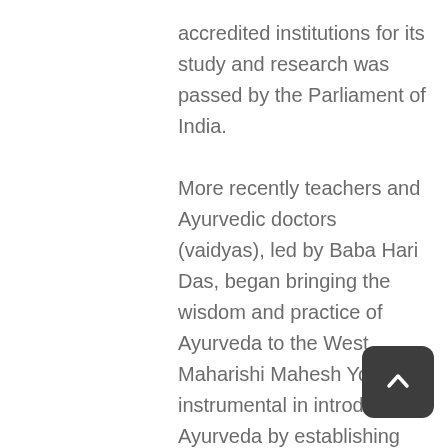accredited institutions for its study and research was passed by the Parliament of India.

More recently teachers and Ayurvedic doctors (vaidyas), led by Baba Hari Das, began bringing the wisdom and practice of Ayurveda to the West.  Maharishi Mahesh Yogi was instrumental in introducing Ayurveda by establishing treatment centers and creating training programs for western physicians.  In those early days, I was working for what was to become